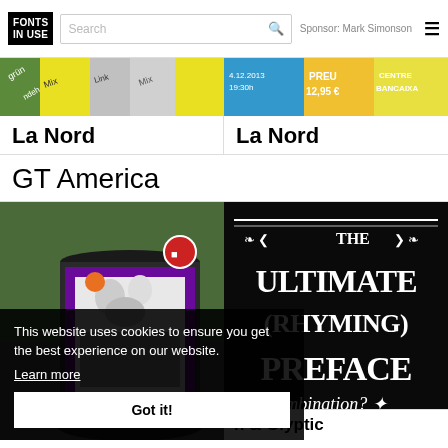FONTS IN USE | Search | Sponsor: Mark Simonson
[Figure (photo): Two image thumbnails side by side: left shows product packaging with colorful labels; right shows event tickets/posters with yellow, green, orange colors]
La Nord
La Nord
GT America
[Figure (photo): Street advertising column with black and white photo of group of people on purple background]
[Figure (photo): Black poster with decorative typography reading THE ULTIMATE (RHYMING) PREFACE mbination?]
This website uses cookies to ensure you get the best experience on our website.
Learn more
Got it!
h & Glyptic